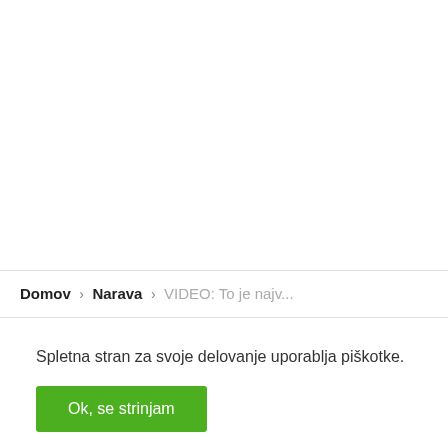Domov › Narava › VIDEO: To je najv...
Spletna stran za svoje delovanje uporablja piškotke.
Ok, se strinjam